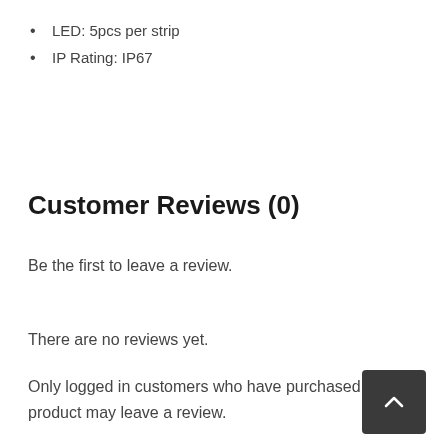LED: 5pcs per strip
IP Rating: IP67
Customer Reviews (0)
Be the first to leave a review.
There are no reviews yet.
Only logged in customers who have purchased this product may leave a review.